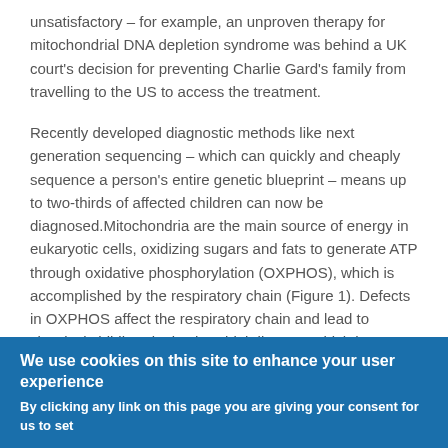unsatisfactory – for example, an unproven therapy for mitochondrial DNA depletion syndrome was behind a UK court's decision for preventing Charlie Gard's family from travelling to the US to access the treatment.
Recently developed diagnostic methods like next generation sequencing – which can quickly and cheaply sequence a person's entire genetic blueprint – means up to two-thirds of affected children can now be diagnosed.Mitochondria are the main source of energy in eukaryotic cells, oxidizing sugars and fats to generate ATP through oxidative phosphorylation (OXPHOS), which is accomplished by the respiratory chain (Figure 1). Defects in OXPHOS affect the respiratory chain and lead to classical childhood mitochondrial disease, which has an incidence of at least ~1/5000 live births. Organs with the highest energy demand such as brain and heart are normally affected, although the disease can affect any organ
We use cookies on this site to enhance your user experience
By clicking any link on this page you are giving your consent for us to set